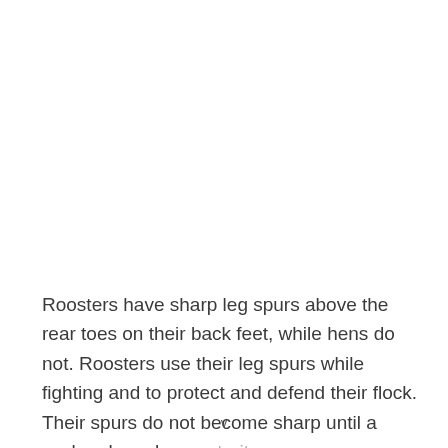Roosters have sharp leg spurs above the rear toes on their back feet, while hens do not. Roosters use their leg spurs while fighting and to protect and defend their flock. Their spurs do not become sharp until a cockerel reaches maturity.
v